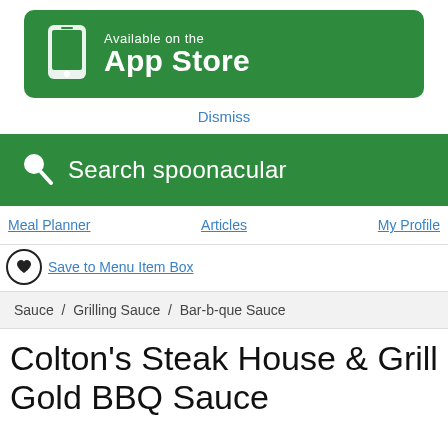[Figure (screenshot): Available on the App Store green banner with phone icon]
Dismiss
[Figure (screenshot): Search spoonacular green search bar with magnifying glass icon]
Meal Planner   Articles   My Profile
Save to Menu Item Box
Sauce / Grilling Sauce / Bar-b-que Sauce
Colton's Steak House & Grill Gold BBQ Sauce